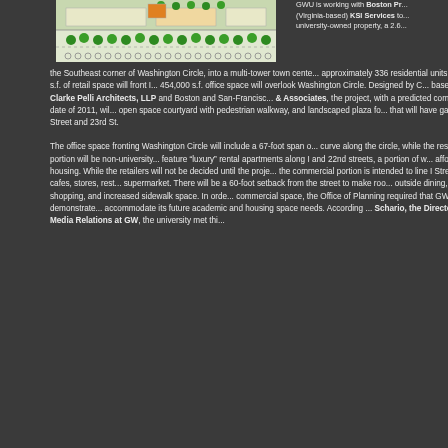[Figure (map): Site plan/map showing Washington Circle development layout with green trees and building footprints]
GWU is working with Boston Pr... (Virginia-based) KSI Services to... university-owned property, a 2.6...
the Southeast corner of Washington Circle, into a multi-tower town cente... approximately 336 residential units. 84,000 s.f. of retail space will front I... 454,000 s.f. office space will overlook Washington Circle. Designed by C... based Pelli Clarke Pelli Architects, LLP and Boston and San-Francisc... & Associates, the project, with a predicted completion date of 2011, wil... open space courtyard with pedestrian walkway, and landscaped plaza fo... that will have gates at I Street and 23rd St.
The office space fronting Washington Circle will include a 67-foot span o... curve along the circle, while the residential portion will be non-university... feature “luxury” rental apartments along I and 22nd streets, a portion of w... affordable housing. While the retailers will not be decided until the proje... the commercial portion is intended to line I Street with cafes, stores, rest... supermarket. There will be a 60-foot setback from the street to make roo... outside dining, window-shopping, and increased sidewalk space. In orde... commercial space, the Office of Planning required that GW demonstrate... accommodate its future academic and housing space needs. According ... Schario, the Director of Media Relations at GW, the university met thi...